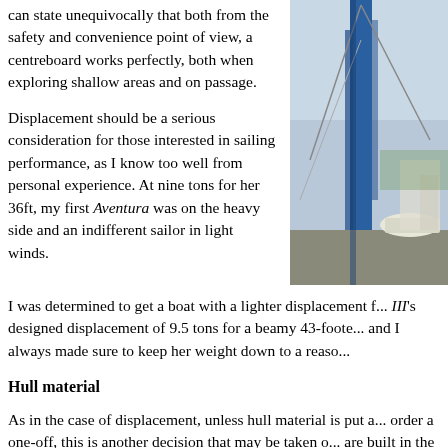can state unequivocally that both from the safety and convenience point of view, a centreboard works perfectly, both when exploring shallow areas and on passage.
[Figure (photo): Photograph of a sailboat mast and rigging with a blue crane or lift structure visible, taken at a marina or boatyard.]
Displacement should be a serious consideration for those interested in sailing performance, as I know too well from personal experience. At nine tons for her 36ft, my first Aventura was on the heavy side and an indifferent sailor in light winds.
I was determined to get a boat with a lighter displacement f... III's designed displacement of 9.5 tons for a beamy 43-foote... and I always made sure to keep her weight down to a reaso...
Hull material
As in the case of displacement, unless hull material is put a... order a one-off, this is another decision that may be taken o... are built in the most suitable material the architect and buil...